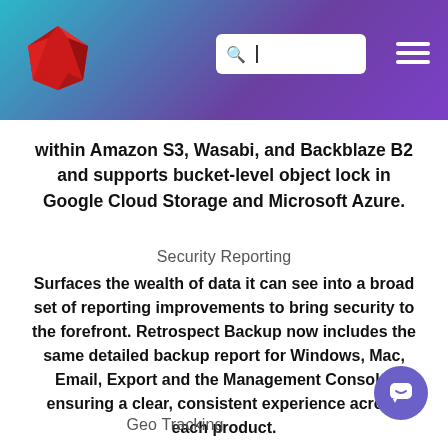[Figure (other): Website header with gradient background (teal to purple), red gem logo on left, search box with cursor in upper right, and hamburger menu icon]
within Amazon S3, Wasabi, and Backblaze B2 and supports bucket-level object lock in Google Cloud Storage and Microsoft Azure.
Security Reporting
Surfaces the wealth of data it can see into a broad set of reporting improvements to bring security to the forefront. Retrospect Backup now includes the same detailed backup report for Windows, Mac, Email, Export and the Management Console, ensuring a clear, consistent experience across each product.
Geo Tracking